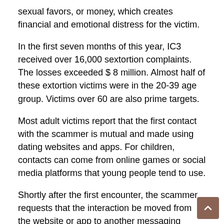sexual favors, or money, which creates financial and emotional distress for the victim.
In the first seven months of this year, IC3 received over 16,000 sextortion complaints. The losses exceeded $ 8 million. Almost half of these extortion victims were in the 20-39 age group. Victims over 60 are also prime targets.
Most adult victims report that the first contact with the scammer is mutual and made using dating websites and apps. For children, contacts can come from online games or social media platforms that young people tend to use.
Shortly after the first encounter, the scammer requests that the interaction be moved from the website or app to another messaging platform. The fraudster threatens either that he already has embarrassing photos or that he incites the exchange of sexually explicit material. It often encourages the victim to participate via video chat or to send their own explicit